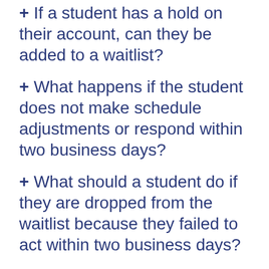+ If a student has a hold on their account, can they be added to a waitlist?
+ What happens if the student does not make schedule adjustments or respond within two business days?
+ What should a student do if they are dropped from the waitlist because they failed to act within two business days?
+ Can a student be placed back on the waitlist in the same